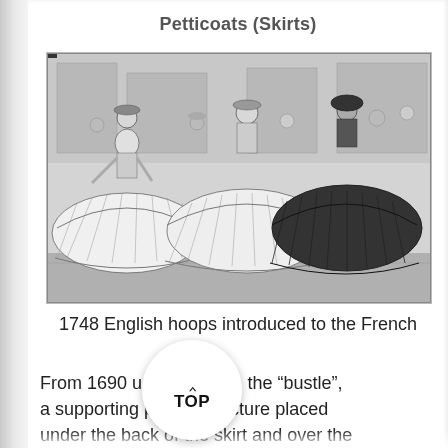Petticoats (Skirts)
[Figure (illustration): Black and white historical illustration from 1748 showing women in large English hoop skirts being introduced to the French. Multiple figures in period dress with wide, ruffled skirts prominently displayed.]
1748 English hoops introduced to the French
From 1690 until 60's, the “bustle”, a supporting pad or structure placed under the back of the skirt and over the